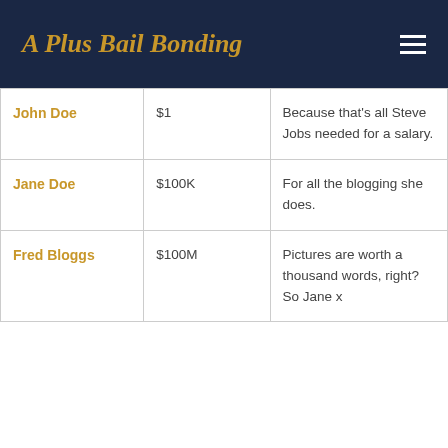A Plus Bail Bonding
| John Doe | $1 | Because that’s all Steve Jobs needed for a salary. |
| Jane Doe | $100K | For all the blogging she does. |
| Fred Bloggs | $100M | Pictures are worth a thousand words, right? So Jane x |